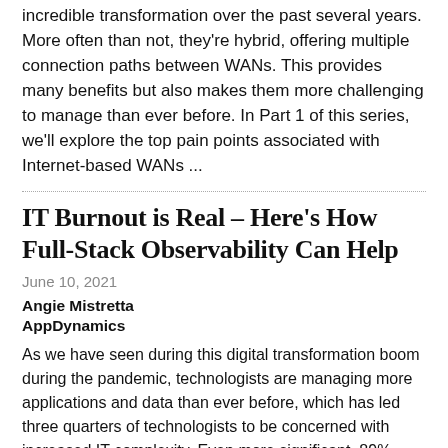incredible transformation over the past several years. More often than not, they're hybrid, offering multiple connection paths between WANs. This provides many benefits but also makes them more challenging to manage than ever before. In Part 1 of this series, we'll explore the top pain points associated with Internet-based WANs ...
IT Burnout is Real – Here's How Full-Stack Observability Can Help
June 10, 2021
Angie Mistretta
AppDynamics
As we have seen during this digital transformation boom during the pandemic, technologists are managing more applications and data than ever before, which has led three quarters of technologists to be concerned with increased IT complexity. Even more significant, 89% admitted to feeling under immense pressure to keep up with the churn, according to the recent AppDynamics Agents of